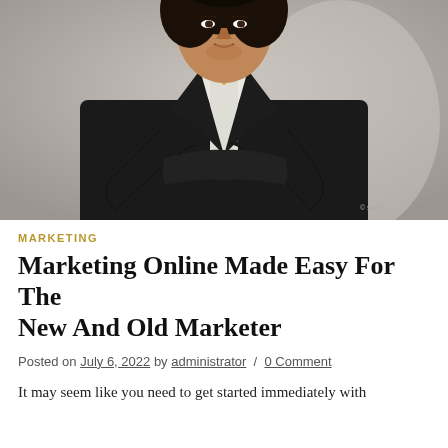[Figure (photo): Professional woman in a dark business jacket with arms crossed, photographed from the torso up against a light grey background.]
MARKETING
Marketing Online Made Easy For The New And Old Marketer
Posted on July 6, 2022 by administrator / 0 Comment
It may seem like you need to get started immediately with